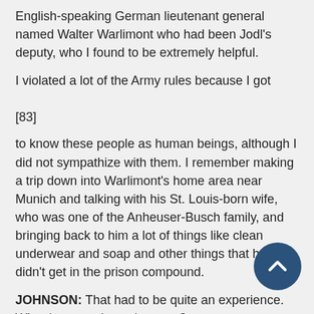English-speaking German lieutenant general named Walter Warlimont who had been Jodl's deputy, who I found to be extremely helpful.
I violated a lot of the Army rules because I got
[83]
to know these people as human beings, although I did not sympathize with them. I remember making a trip down into Warlimont's home area near Munich and talking with his St. Louis-born wife, who was one of the Anheuser-Busch family, and bringing back to him a lot of things like clean underwear and soap and other things that he didn't get in the prison compound.
JOHNSON: That had to be quite an experience. Who depressed you the most?
HECHLER: Well, I guess Goering depressed me the most because he regarded the whole war and conflict as